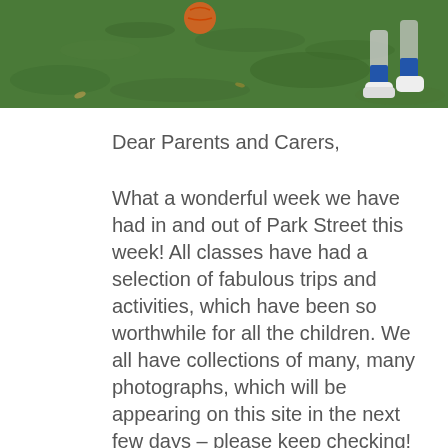[Figure (photo): Outdoor photo showing green grass with a person's legs and white shoes visible at the right edge, and what appears to be a ball or object in the upper center — a sports activity scene outdoors.]
Dear Parents and Carers,
What a wonderful week we have had in and out of Park Street this week! All classes have had a selection of fabulous trips and activities, which have been so worthwhile for all the children. We all have collections of many, many photographs, which will be appearing on this site in the next few days – please keep checking! I think the favourite activities so far have been Forest School and den building in Wandlebury for Robin Class, and robotics workshops for Eagles and Woodpeckers.